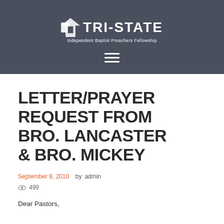[Figure (logo): Tri-State Independent Baptist Preachers Fellowship logo with icon and text on dark grey header background with hamburger menu icon below]
LETTER/PRAYER REQUEST FROM BRO. LANCASTER & BRO. MICKEY
September 9, 2010  by admin  499
Dear Pastors,